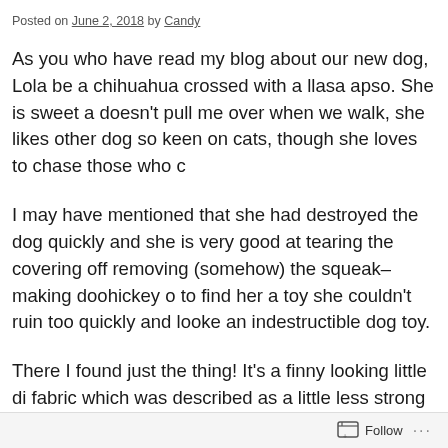Posted on June 2, 2018 by Candy
As you who have read my blog about our new dog, Lola be a chihuahua crossed with a llasa apso. She is sweet a doesn't pull me over when we walk, she likes other dog so keen on cats, though she loves to chase those who c
I may have mentioned that she had destroyed the dog quickly and she is very good at tearing the covering off removing (somehow) the squeak-making doohickey o to find her a toy she couldn't ruin too quickly and looke an indestructible dog toy.
There I found just the thing! It's a finny looking little di fabric which was described as a little less strong than k took over a week to arrive so Lola had to make do with and the quickly fraying rope toy. The strong toy wasn' week or so and I was really pleased to find it in yesterd
Follow ...